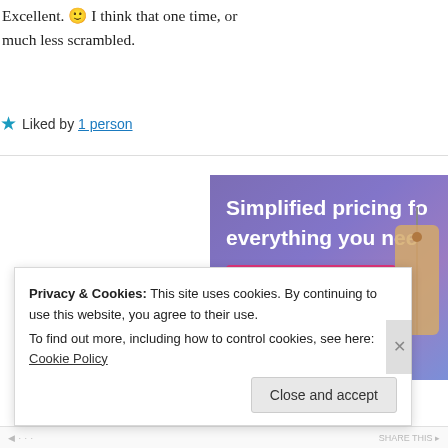Excellent. 🙂 I think that one time, or much less scrambled.
★ Liked by 1 person
[Figure (infographic): WordPress.com advertisement banner with purple/blue gradient background, text 'Simplified pricing for everything you need', a pink 'Build Your Website' button, and a decorative price tag illustration on the right.]
Privacy & Cookies: This site uses cookies. By continuing to use this website, you agree to their use.
To find out more, including how to control cookies, see here: Cookie Policy
Close and accept